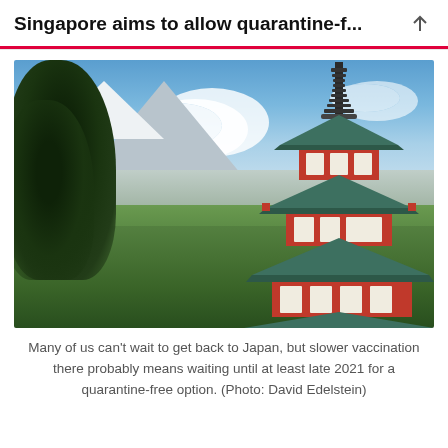Singapore aims to allow quarantine-f...
[Figure (photo): Japanese five-story red and green pagoda with Mount Fuji and a city in the background, surrounded by trees under a blue sky]
Many of us can't wait to get back to Japan, but slower vaccination there probably means waiting until at least late 2021 for a quarantine-free option. (Photo: David Edelstein)